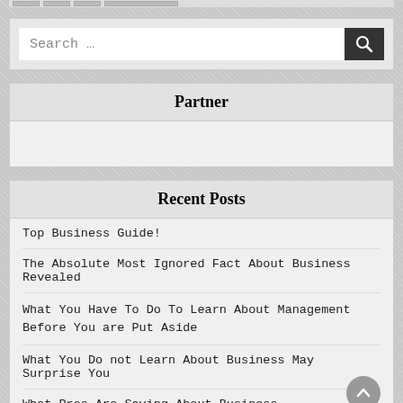[Figure (screenshot): Search bar widget with text input and dark search button with magnifying glass icon]
Partner
Recent Posts
Top Business Guide!
The Absolute Most Ignored Fact About Business Revealed
What You Have To Do To Learn About Management Before You are Put Aside
What You Do not Learn About Business May Surprise You
What Pros Are Saying About Business...